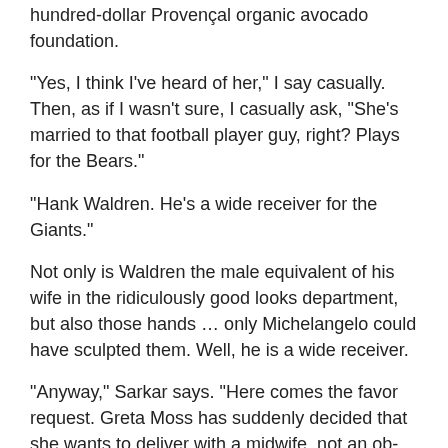hundred-dollar Provençal organic avocado foundation.
“Yes, I think I’ve heard of her,” I say casually. Then, as if I wasn’t sure, I casually ask, “She’s married to that football player guy, right? Plays for the Bears.”
“Hank Waldren. He’s a wide receiver for the Giants.”
Not only is Waldren the male equivalent of his wife in the ridiculously good looks department, but also those hands … only Michelangelo could have sculpted them. Well, he is a wide receiver.
“Anyway,” Sarkar says. “Here comes the favor request. Greta Moss has suddenly decided that she wants to deliver with a midwife, not an ob-gyn. She told me that she wants her baby to be born the way she herself was born: on a kitchen table in Copenhagen.”
“We’re all out of kitchen tables,” I say. “And look out the window. It sure isn’t Copenhagen out there.”
“Come on, Lucy. Please. Greta really wants this,” he says. “And I think the publicity for the hospital, for you, for the